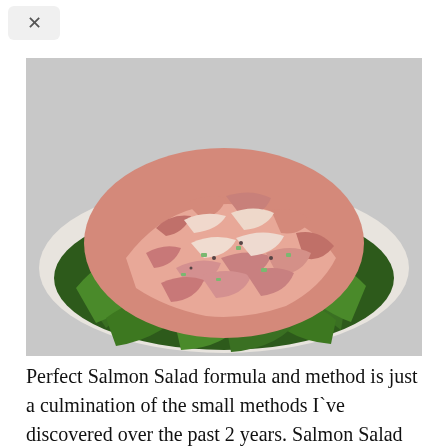[Figure (photo): A plate of salmon salad served on a bed of green lettuce leaves, photographed from a close angle on a white plate against a light gray background.]
Perfect Salmon Salad formula and method is just a culmination of the small methods I've discovered over the past 2 years. Salmon Salad